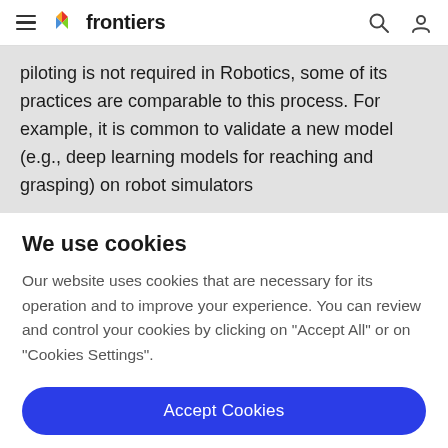frontiers
piloting is not required in Robotics, some of its practices are comparable to this process. For example, it is common to validate a new model (e.g., deep learning models for reaching and grasping) on robot simulators
We use cookies
Our website uses cookies that are necessary for its operation and to improve your experience. You can review and control your cookies by clicking on "Accept All" or on "Cookies Settings".
Accept Cookies
Cookies Settings